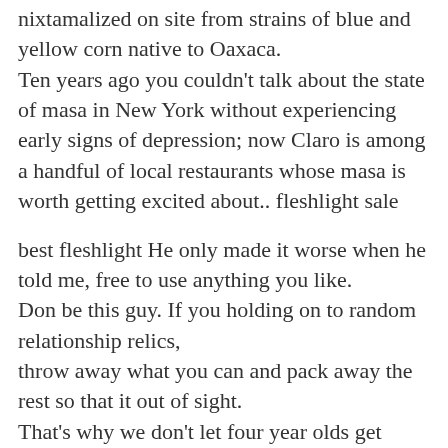nixtamalized on site from strains of blue and yellow corn native to Oaxaca. Ten years ago you couldn't talk about the state of masa in New York without experiencing early signs of depression; now Claro is among a handful of local restaurants whose masa is worth getting excited about.. fleshlight sale
best fleshlight He only made it worse when he told me, free to use anything you like. Don be this guy. If you holding on to random relationship relics, throw away what you can and pack away the rest so that it out of sight. That's why we don't let four year olds get driver's licenses. Anybody who is old enough and mentally competent to get a driver's license has a special responsibility to create an environment in which when kids screw up, they don't lose their lives because